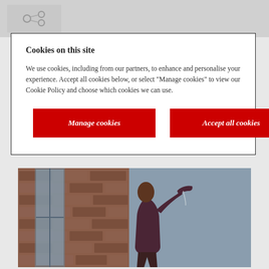[Figure (screenshot): Top gray navigation bar with a small logo/share icon]
Cookies on this site
We use cookies, including from our partners, to enhance and personalise your experience. Accept all cookies below, or select "Manage cookies" to view our Cookie Policy and choose which cookies we can use.
Manage cookies
Accept all cookies
[Figure (photo): A person writing on a blackboard/chalkboard in a brick-walled classroom, viewed from behind, wearing a dark long-sleeve shirt]